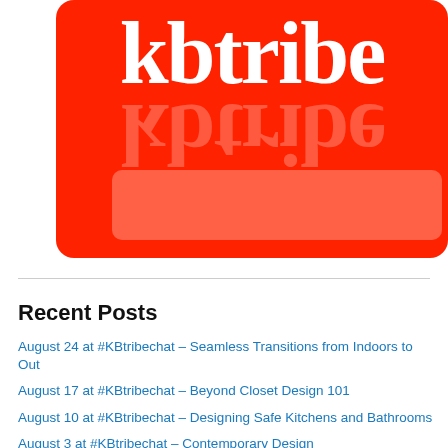[Figure (logo): kbtribe logo on red rounded rectangle background with reflection effect and a lighter pink input box below]
Recent Posts
August 24 at #KBtribechat – Seamless Transitions from Indoors to Out
August 17 at #KBtribechat – Beyond Closet Design 101
August 10 at #KBtribechat – Designing Safe Kitchens and Bathrooms
August 3 at #KBtribechat – Contemporary Design
July 27 – Nurturing Wellness in Bathroom Design